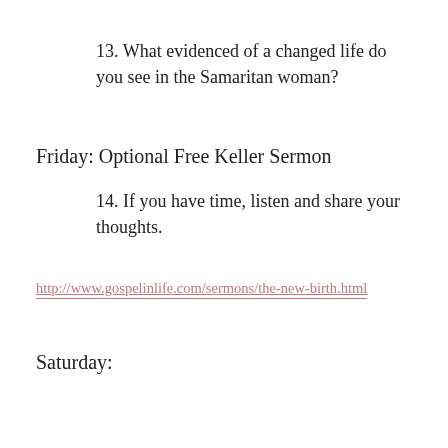13. What evidenced of a changed life do you see in the Samaritan woman?
Friday: Optional Free Keller Sermon
14. If you have time, listen and share your thoughts.
http://www.gospelinlife.com/sermons/the-new-birth.html
Saturday: